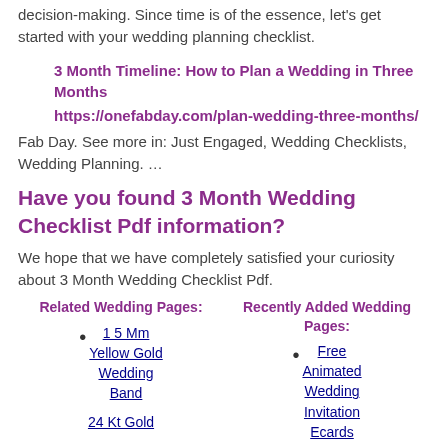decision-making. Since time is of the essence, let's get started with your wedding planning checklist.
3 Month Timeline: How to Plan a Wedding in Three Months
https://onefabday.com/plan-wedding-three-months/
Fab Day. See more in: Just Engaged, Wedding Checklists, Wedding Planning. …
Have you found 3 Month Wedding Checklist Pdf information?
We hope that we have completely satisfied your curiosity about 3 Month Wedding Checklist Pdf.
Related Wedding Pages:
Recently Added Wedding Pages:
1 5 Mm Yellow Gold Wedding Band
24 Kt Gold
Free Animated Wedding Invitation Ecards